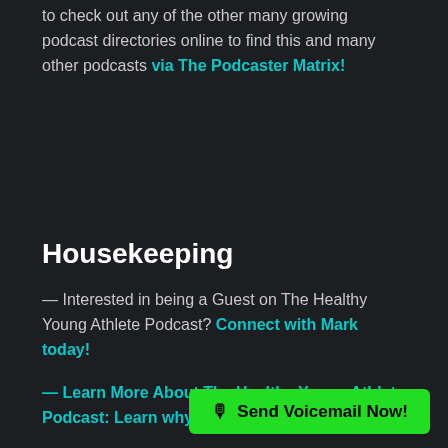to check out any of the other many growing podcast directories online to find this and many other podcasts via The Podcaster Matrix!
Housekeeping
— Interested in being a Guest on The Healthy Young Athlete Podcast? Connect with Mark today!
— Learn More About The Healthy Young Athlete Podcast: Learn why this podcast exists…
Links from this Episode:
— Dr. Mark Halstead
🎙 Send Voicemail Now!